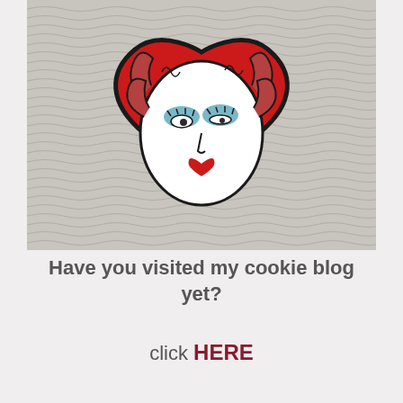[Figure (photo): A decorative cookie shaped like a red heart with a face design on it. The face has blue eye shadow, dark outlined eyes, a simple nose, and a small red heart for lips, with curly reddish hair around a white face oval. The cookie sits on a textured gray-white background of wavy lines radiating outward.]
Have you visited my cookie blog yet?
click HERE